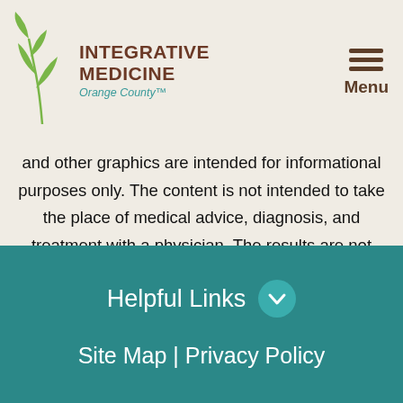Integrative Medicine Orange County™ — Menu
and other graphics are intended for informational purposes only. The content is not intended to take the place of medical advice, diagnosis, and treatment with a physician. The results are not guaranteed and may vary for every client.
[Figure (logo): Instagram icon button, teal circle with camera icon]
Helpful Links | Site Map | Privacy Policy